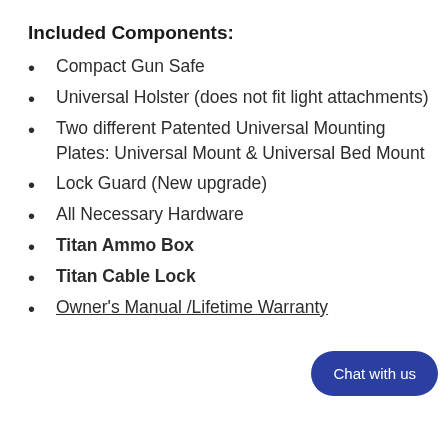Included Components:
Compact Gun Safe
Universal Holster (does not fit light attachments)
Two different Patented Universal Mounting Plates: Universal Mount & Universal Bed Mount
Lock Guard (New upgrade)
All Necessary Hardware
Titan Ammo Box
Titan Cable Lock
Owner's Manual /Lifetime Warranty